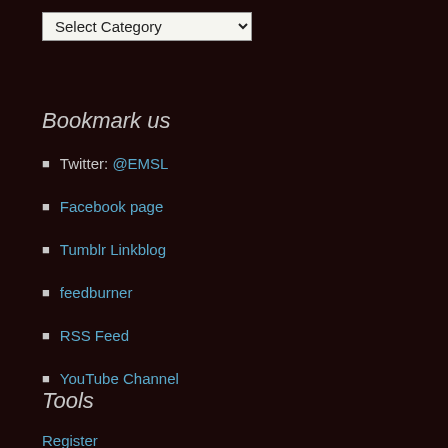Select Category
Bookmark us
Twitter: @EMSL
Facebook page
Tumblr Linkblog
feedburner
RSS Feed
YouTube Channel
Tools
Register